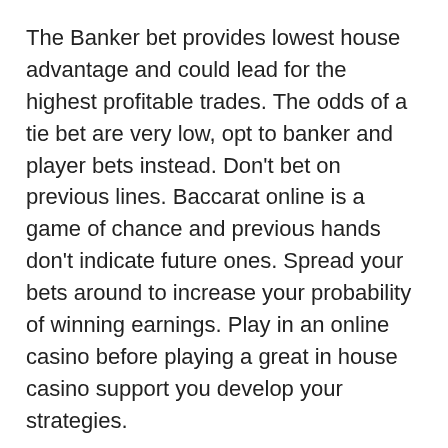The Banker bet provides lowest house advantage and could lead for the highest profitable trades. The odds of a tie bet are very low, opt to banker and player bets instead. Don't bet on previous lines. Baccarat online is a game of chance and previous hands don't indicate future ones. Spread your bets around to increase your probability of winning earnings. Play in an online casino before playing a great in house casino support you develop your strategies.
Financial institution function is not passed along between the players, but handled with casino distributor. An extra hand is also handed out to play. Players can make bets on both, even so on the bank's personally. The bank is not bound by method to card rules and can draw or stand as they wishes.
Long before we had advances in technology and